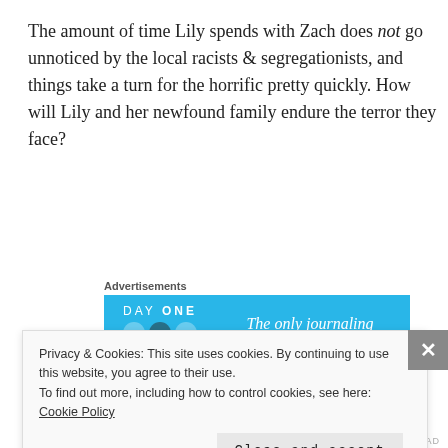The amount of time Lily spends with Zach does not go unnoticed by the local racists & segregationists, and things take a turn for the horrific pretty quickly. How will Lily and her newfound family endure the terror they face?
Advertisements
[Figure (screenshot): Advertisement banner for Day One journaling app, blue background with circular icons and text 'The only journaling']
The Rating:
Privacy & Cookies: This site uses cookies. By continuing to use this website, you agree to their use. To find out more, including how to control cookies, see here: Cookie Policy
Close and accept
FOLLOW THIS AD